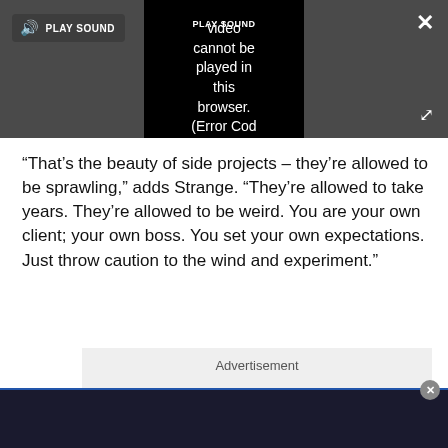[Figure (screenshot): Video player UI with dark grey background, a black video area showing error message 'video cannot be played in this browser. (Error Cod', a PLAY SOUND button top-left, a close X top-right, and an expand icon bottom-right.]
“That’s the beauty of side projects – they’re allowed to be sprawling,” adds Strange. “They’re allowed to take years. They’re allowed to be weird. You are your own client; your own boss. You set your own expectations. Just throw caution to the wind and experiment.”
Advertisement